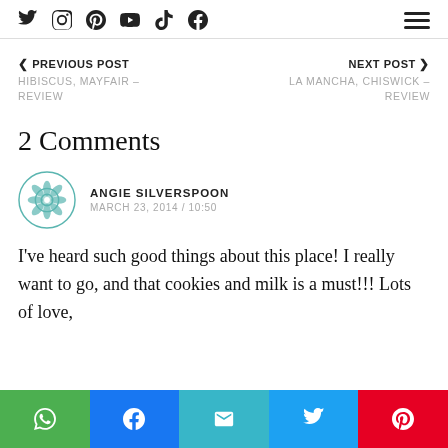Social icons: Twitter, Instagram, Pinterest, YouTube, TikTok, Facebook | Hamburger menu
< PREVIOUS POST
HIBISCUS, MAYFAIR – REVIEW
NEXT POST >
LA MANCHA, CHISWICK – REVIEW
2 Comments
ANGIE SILVERSPOON
MARCH 23, 2014 / 10:50
I've heard such good things about this place! I really want to go, and that cookies and milk is a must!!! Lots of love,
Share buttons: WhatsApp, Facebook, Email, Twitter, Pinterest